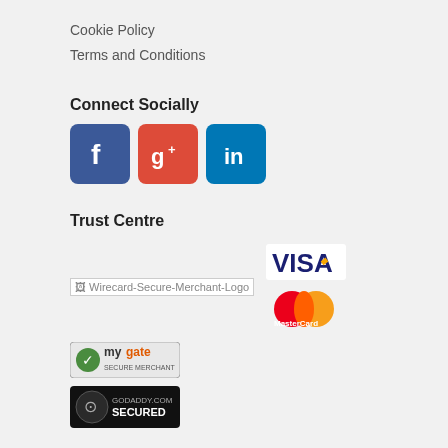Cookie Policy
Terms and Conditions
Connect Socially
[Figure (logo): Three social media icons: Facebook (blue), Google+ (orange-red), LinkedIn (blue)]
Trust Centre
[Figure (logo): Trust Centre logos: Wirecard Secure Merchant Logo (broken image), VISA logo, MyGate secure merchant badge, MasterCard logo, GoDaddy.com Secured badge]
You are safe with us.
All data is 128bit encrypted.